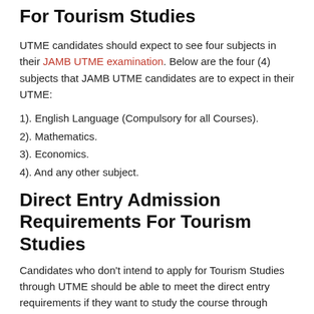For Tourism Studies
UTME candidates should expect to see four subjects in their JAMB UTME examination. Below are the four (4) subjects that JAMB UTME candidates are to expect in their UTME:
1). English Language (Compulsory for all Courses).
2). Mathematics.
3). Economics.
4). And any other subject.
Direct Entry Admission Requirements For Tourism Studies
Candidates who don't intend to apply for Tourism Studies through UTME should be able to meet the direct entry requirements if they want to study the course through Direct Entry. See the Direct Entry admission requirements below.